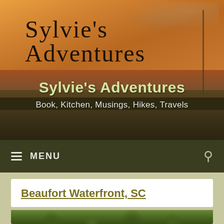[Figure (photo): Website header banner with sunset over water/marina background, sailboat mast visible on right side]
Sylvie's Adventures
Book, Kitchen, Musings, Hikes, Travels
≡ MENU
Beaufort Waterfront, SC
[Figure (photo): Partial photo of waterfront scene with trees, bottom of page]